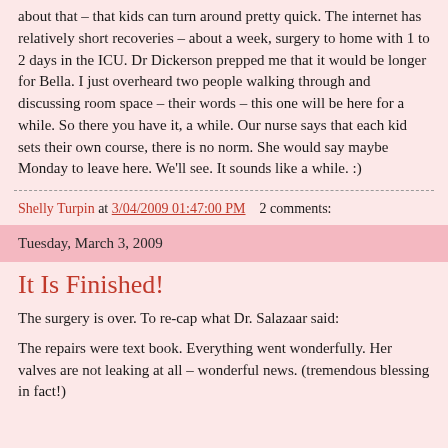about that – that kids can turn around pretty quick.  The internet has relatively short recoveries – about a week, surgery to home with 1 to 2 days in the ICU.    Dr Dickerson prepped me that it would be longer for Bella.  I just overheard two people walking through and discussing room space – their words – this one will be here for a while.  So there you have it, a while.  Our nurse says that each kid sets their own course, there is no norm.  She would say maybe Monday to leave here.  We'll see.  It sounds like a while.  :)
Shelly Turpin at 3/04/2009 01:47:00 PM    2 comments:
Tuesday, March 3, 2009
It Is Finished!
The surgery is over.  To re-cap what Dr. Salazaar said:
The repairs were text book.  Everything went wonderfully.  Her valves are not leaking at all – wonderful news.   (tremendous blessing in fact!)